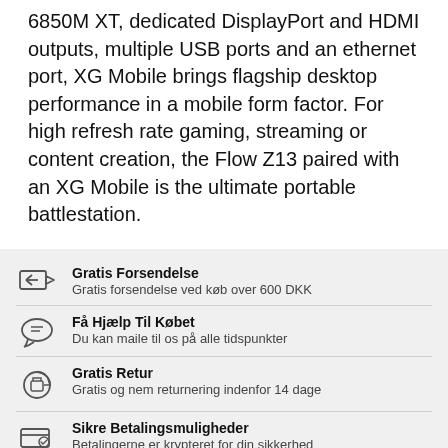6850M XT, dedicated DisplayPort and HDMI outputs, multiple USB ports and an ethernet port, XG Mobile brings flagship desktop performance in a mobile form factor. For high refresh rate gaming, streaming or content creation, the Flow Z13 paired with an XG Mobile is the ultimate portable battlestation.
Gratis Forsendelse — Gratis forsendelse ved køb over 600 DKK
Få Hjælp Til Købet — Du kan maile til os på alle tidspunkter
Gratis Retur — Gratis og nem returnering indenfor 14 dage
Sikre Betalingsmuligheder — Betalingerne er krypteret for din sikkerhed